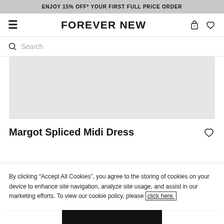ENJOY 15% OFF* YOUR FIRST FULL PRICE ORDER
FOREVER NEW
Search
[Figure (other): Product image placeholder (grey rectangle)]
Margot Spliced Midi Dress
By clicking “Accept All Cookies”, you agree to the storing of cookies on your device to enhance site navigation, analyze site usage, and assist in our marketing efforts. To view our cookie policy, please click here.